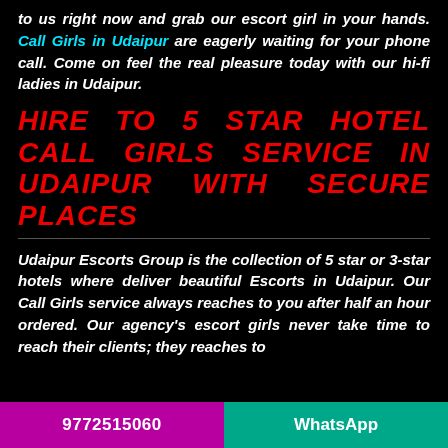to us right now and grab our escort girl in your hands. Call Girls in Udaipur are eagerly waiting for your phone call. Come on feel the real pleasure today with our hi-fi ladies in Udaipur.
HIRE TO 5 STAR HOTEL CALL GIRLS SERVICE IN UDAIPUR WITH SECURE PLACES
Udaipur Escorts Group is the collection of 5 star or 3-star hotels where deliver beautiful Escorts in Udaipur. Our Call Girls service always reaches to you after half an hour ordered. Our agency's escort girls never take time to reach their clients; they reaches to
9772515060    WhatsApp